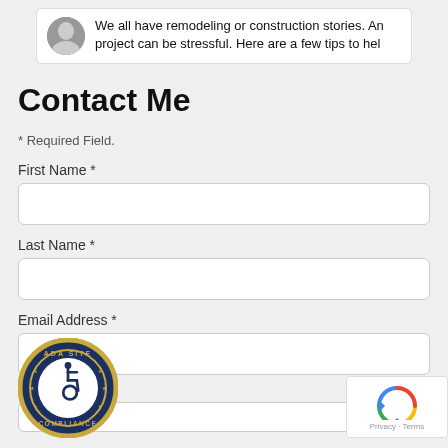We all have remodeling or construction stories. An project can be stressful. Here are a few tips to hel
Contact Me
* Required Field.
First Name *
Last Name *
Email Address *
Phone *
[Figure (logo): ADA Site Compliance accessibility badge — circular blue and gold seal with wheelchair icon]
[Figure (logo): reCAPTCHA badge with Google reCAPTCHA logo and Privacy - Terms text]